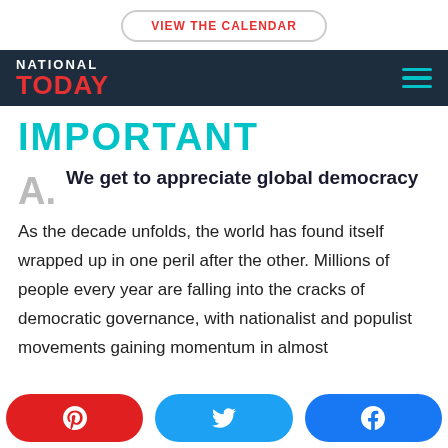VIEW THE CALENDAR
[Figure (logo): National Today logo — NATIONAL in white, TODAY in red, on dark navy background with teal hamburger menu icon]
IMPORTANT
A. We get to appreciate global democracy
As the decade unfolds, the world has found itself wrapped up in one peril after the other. Millions of people every year are falling into the cracks of democratic governance, with nationalist and populist movements gaining momentum in almost
Pinterest share | Twitter share | Facebook share